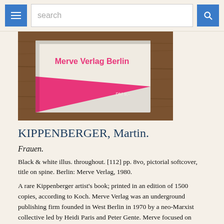search
[Figure (photo): Photo of a book with a pink and white cover labeled 'Merve Verlag Berlin', placed on a wooden surface. Price sticker reads 'DM 9,-'.]
KIPPENBERGER, Martin.
Frauen.
Black & white illus. throughout. [112] pp. 8vo, pictorial softcover, title on spine. Berlin: Merve Verlag, 1980.
A rare Kippenberger artist's book; printed in an edition of 1500 copies, according to Koch. Merve Verlag was an underground publishing firm founded in West Berlin in 1970 by a neo-Marxist collective led by Heidi Paris and Peter Gente. Merve focused on